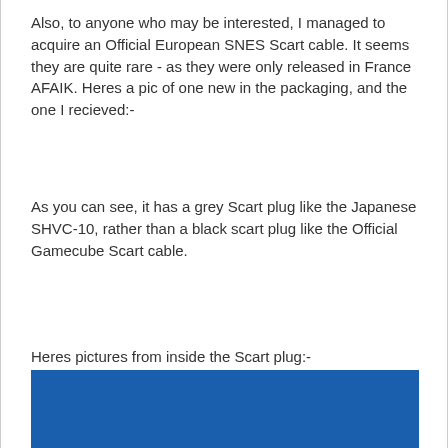Also, to anyone who may be interested, I managed to acquire an Official European SNES Scart cable. It seems they are quite rare - as they were only released in France AFAIK. Heres a pic of one new in the packaging, and the one I recieved:-
As you can see, it has a grey Scart plug like the Japanese SHVC-10, rather than a black scart plug like the Official Gamecube Scart cable.
Heres pictures from inside the Scart plug:-
[Figure (photo): An image split into two halves: top half is blue with white text 'NO', bottom half is yellow/gold with white text 'WAR'. Resembles the Ukrainian flag colors.]